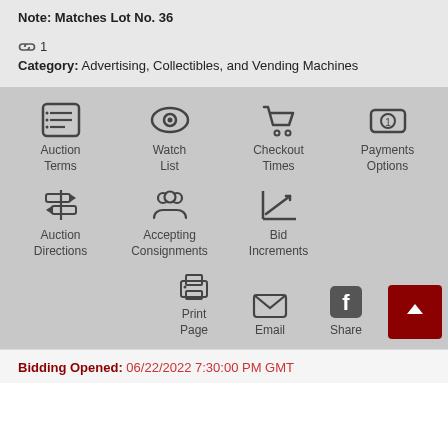Note: Matches Lot No. 36
🔗1
Category: Advertising, Collectibles, and Vending Machines
[Figure (infographic): Navigation icon grid with: Auction Terms (list icon), Watch List (eye icon), Checkout Times (cart icon), Payments Options (cash icon), Auction Directions (sign icon), Accepting Consignments (people icon), Bid Increments (chart icon), Print Page (printer icon), Email (envelope icon), Share (Facebook icon), and back-to-top arrow button]
Bidding Opened: 06/22/2022 7:30:00 PM GMT